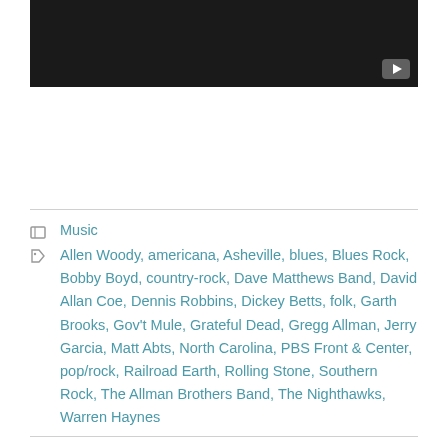[Figure (other): Embedded video player with dark background and play button in bottom-right corner]
Music
Allen Woody, americana, Asheville, blues, Blues Rock, Bobby Boyd, country-rock, Dave Matthews Band, David Allan Coe, Dennis Robbins, Dickey Betts, folk, Garth Brooks, Gov't Mule, Grateful Dead, Gregg Allman, Jerry Garcia, Matt Abts, North Carolina, PBS Front & Center, pop/rock, Railroad Earth, Rolling Stone, Southern Rock, The Allman Brothers Band, The Nighthawks, Warren Haynes